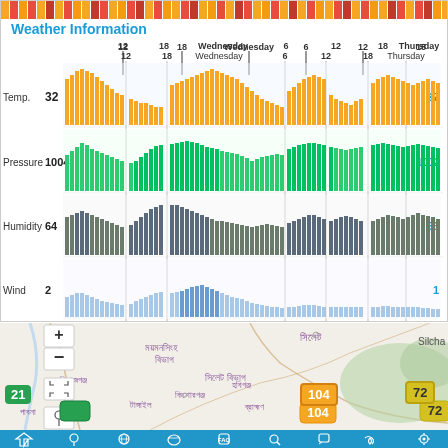[Figure (infographic): AQI color bar strip across top of weather panel showing colored blocks from red/orange/yellow indicating air quality index levels]
Weather Information
[Figure (bar-chart): Orange bar chart showing temperature over time from Tuesday 12 through Thursday 12]
[Figure (bar-chart): Green bar chart showing atmospheric pressure over time]
[Figure (bar-chart): Dark blue-grey bar chart showing humidity over time]
[Figure (bar-chart): Light blue bar chart showing wind speed over time]
[Figure (map): Map of Bangladesh showing regions including Mymensingh, Sylhet, Kishoreganj, Habiganj areas with AQI markers showing values 104 (orange), 72 (yellow), 21 (green). Text labels in Bengali script. Map controls including zoom +/- buttons and fullscreen button visible.]